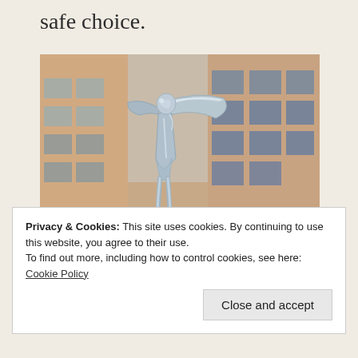safe choice.
[Figure (photo): A chrome Spirit of Ecstasy (Rolls-Royce hood ornament) statue shown against a blurred background of a building with windows and warm-toned facade.]
Privacy & Cookies: This site uses cookies. By continuing to use this website, you agree to their use.
To find out more, including how to control cookies, see here: Cookie Policy
Close and accept